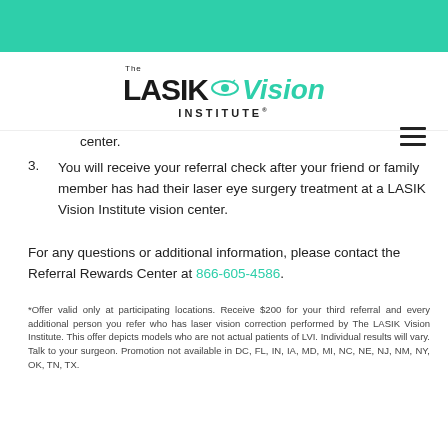[Figure (logo): The LASIK Vision Institute logo with teal/green colored 'Vision' text and eye graphic]
center.
3. You will receive your referral check after your friend or family member has had their laser eye surgery treatment at a LASIK Vision Institute vision center.
For any questions or additional information, please contact the Referral Rewards Center at 866-605-4586.
*Offer valid only at participating locations. Receive $200 for your third referral and every additional person you refer who has laser vision correction performed by The LASIK Vision Institute. This offer depicts models who are not actual patients of LVI. Individual results will vary. Talk to your surgeon. Promotion not available in DC, FL, IN, IA, MD, MI, NC, NE, NJ, NM, NY, OK, TN, TX.